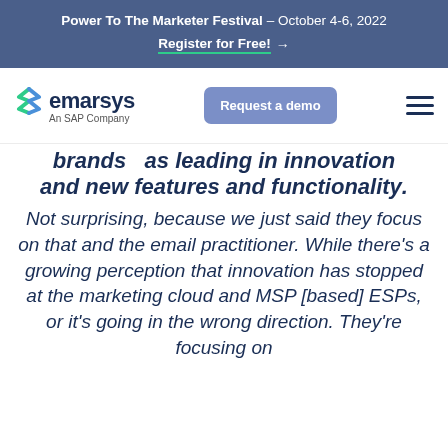Power To The Marketer Festival – October 4-6, 2022
Register for Free! →
[Figure (logo): Emarsys An SAP Company logo with green S-shape icon]
brands as leading in innovation and new features and functionality. Not surprising, because we just said they focus on that and the email practitioner. While there's a growing perception that innovation has stopped at the marketing cloud and MSP [based] ESPs, or it's going in the wrong direction. They're focusing on